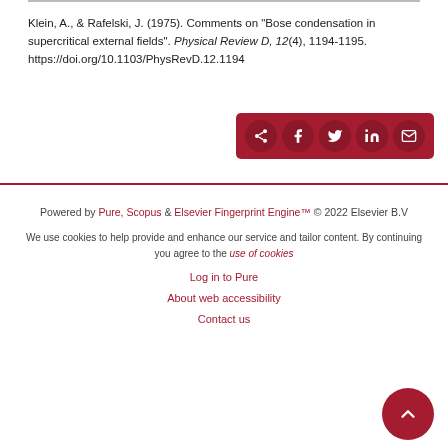Klein, A., & Rafelski, J. (1975). Comments on "Bose condensation in supercritical external fields". Physical Review D, 12(4), 1194-1195. https://doi.org/10.1103/PhysRevD.12.1194
[Figure (other): Share buttons row: share icon, Facebook, Twitter, LinkedIn, Email — white icons on dark red circular backgrounds inside a dark red rounded rectangle bar]
Powered by Pure, Scopus & Elsevier Fingerprint Engine™ © 2022 Elsevier B.V
We use cookies to help provide and enhance our service and tailor content. By continuing you agree to the use of cookies
Log in to Pure
About web accessibility
Contact us